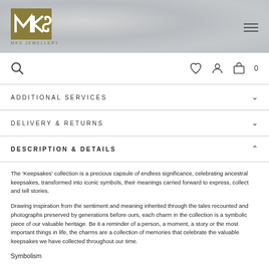[Figure (logo): MKS Jewellery logo with geometric gold mark and text MKS JEWELLERY on textured grey background with hamburger menu icon]
[Figure (screenshot): Toolbar with search icon on left and heart, user account, shopping bag with 0 icons on right]
ADDITIONAL SERVICES
DELIVERY & RETURNS
DESCRIPTION & DETAILS
The ‘Keepsakes’ collection is a precious capsule of endless significance, celebrating ancestral keepsakes, transformed into iconic symbols, their meanings carried forward to express, collect and tell stories.
Drawing inspiration from the sentiment and meaning inherited through the tales recounted and photographs preserved by generations before ours, each charm in the collection is a symbolic piece of our valuable heritage. Be it a reminder of a person, a moment, a story or the most important things in life, the charms are a collection of memories that celebrate the valuable keepsakes we have collected throughout our time.
Symbolism